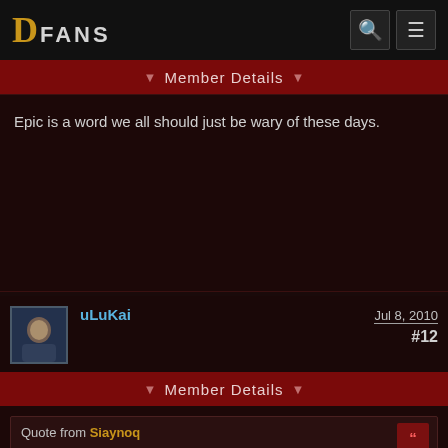DFans
Member Details
Epic is a word we all should just be wary of these days.
uLuKai   Jul 8, 2010   #12
Member Details
Quote from Siaynoq
Epic is a word we all should just be wary of these days.
You can say that again, case and point --> "Epic Yarn"